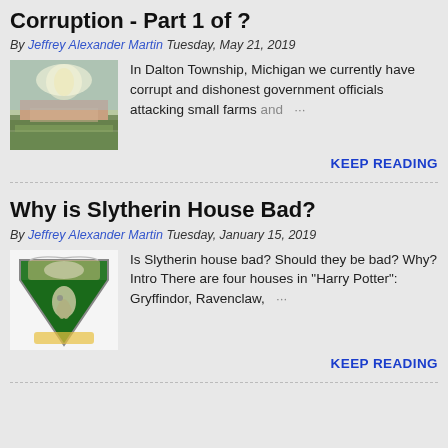Corruption - Part 1 of ?
By Jeffrey Alexander Martin  Tuesday, May 21, 2019
In Dalton Township, Michigan we currently have corrupt and dishonest government officials attacking small farms and …
KEEP READING
Why is Slytherin House Bad?
By Jeffrey Alexander Martin  Tuesday, January 15, 2019
Is Slytherin house bad? Should they be bad? Why? Intro There are four houses in "Harry Potter": Gryffindor, Ravenclaw, …
KEEP READING